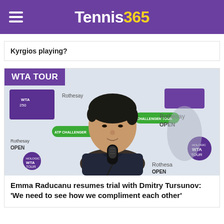Tennis365
Kyrgios playing?
WTA TOUR
[Figure (photo): Emma Raducanu at a press conference in front of Rothesay Open and WTA Tour branded backdrops, speaking into a microphone]
Emma Raducanu resumes trial with Dmitry Tursunov: 'We need to see how we compliment each other'